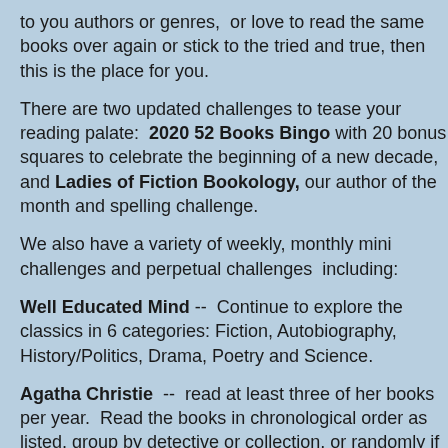to you authors or genres,  or love to read the same books over again or stick to the tried and true, then this is the place for you.
There are two updated challenges to tease your reading palate:  2020 52 Books Bingo with 20 bonus squares to celebrate the beginning of a new decade, and Ladies of Fiction Bookology, our author of the month and spelling challenge.
We also have a variety of weekly, monthly mini challenges and perpetual challenges  including:
Well Educated Mind --  Continue to explore the classics in 6 categories: Fiction, Autobiography, History/Politics, Drama, Poetry and Science.
Agatha Christie  --  read at least three of her books per year.  Read the books in chronological order as listed, group by detective or collection, or randomly if you choose.
Brit Tripping  --  A year long mystery road traveling the